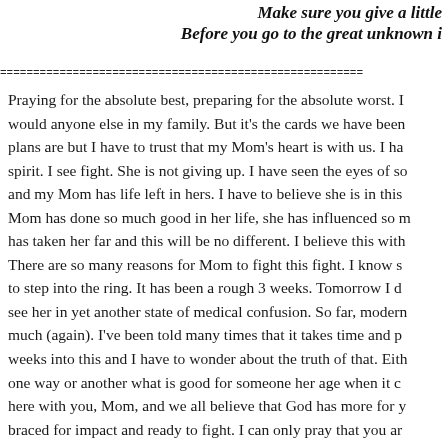Make sure you give a little
Before you go to the great unknown i
Praying for the absolute best, preparing for the absolute worst. I would anyone else in my family. But it's the cards we have been plans are but I have to trust that my Mom's heart is with us. I ha spirit. I see fight. She is not giving up. I have seen the eyes of so and my Mom has life left in hers. I have to believe she is in this Mom has done so much good in her life, she has influenced so m has taken her far and this will be no different. I believe this with There are so many reasons for Mom to fight this fight. I know s to step into the ring. It has been a rough 3 weeks. Tomorrow I d see her in yet another state of medical confusion. So far, modern much (again). I've been told many times that it takes time and p weeks into this and I have to wonder about the truth of that. Eith one way or another what is good for someone her age when it c here with you, Mom, and we all believe that God has more for y braced for impact and ready to fight. I can only pray that you ar We all love you so much and we're gonna be pulling around N